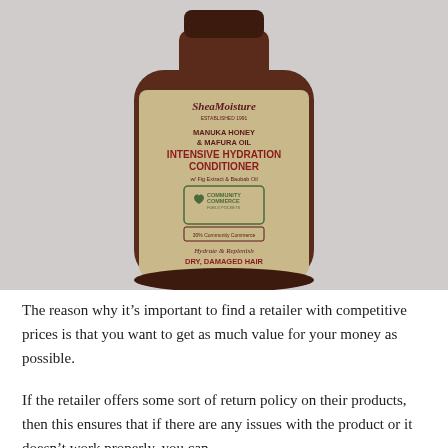[Figure (photo): SheaMoisture Manuka Honey & Mafura Oil Intensive Hydration Conditioner product bottle with label showing Community Commerce logo, Hydrate & Replenish DRY, DAMAGED HAIR, Sulfate Free & Color Safe, 13 fl oz / 384 ml]
The reason why it's important to find a retailer with competitive prices is that you want to get as much value for your money as possible.
If the retailer offers some sort of return policy on their products, then this ensures that if there are any issues with the product or it doesn't work properly, you can